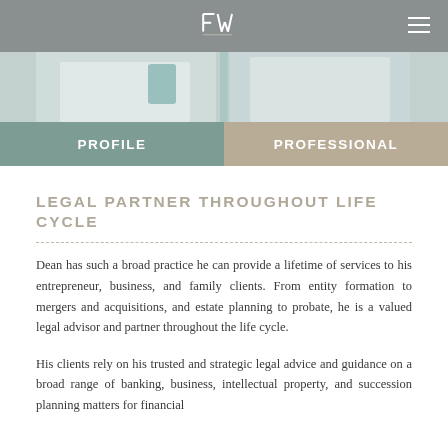FW logo with navigation
[Figure (photo): Photo of a person in a white coat/shirt with a blue tie, partially cropped]
PROFILE   PROFESSIONAL
LEGAL PARTNER THROUGHOUT LIFE CYCLE
Dean has such a broad practice he can provide a lifetime of services to his entrepreneur, business, and family clients. From entity formation to mergers and acquisitions, and estate planning to probate, he is a valued legal advisor and partner throughout the life cycle.
His clients rely on his trusted and strategic legal advice and guidance on a broad range of banking, business, intellectual property, and succession planning matters for financial